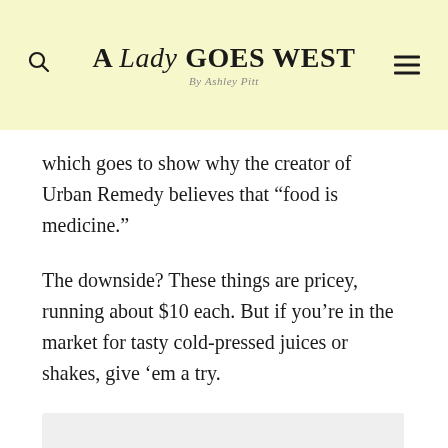A Lady GOES WEST By Ashley Pitt
which goes to show why the creator of Urban Remedy believes that “food is medicine.”
The downside? These things are pricey, running about $10 each. But if you’re in the market for tasty cold-pressed juices or shakes, give ‘em a try.
[Figure (photo): Placeholder image area, light gray rectangle]